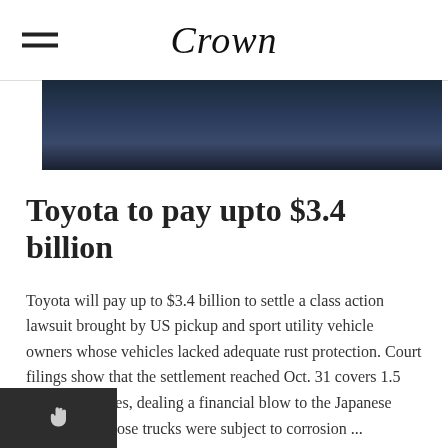Crown
[Figure (photo): Dark close-up photo showing fabric or clothing, partially visible at top of article]
Toyota to pay upto $3.4 billion
Toyota will pay up to $3.4 billion to settle a class action lawsuit brought by US pickup and sport utility vehicle owners whose vehicles lacked adequate rust protection. Court filings show that the settlement reached Oct. 31 covers 1.5 million vehicles, dealing a financial blow to the Japanese automaker whose trucks were subject to corrosion ...